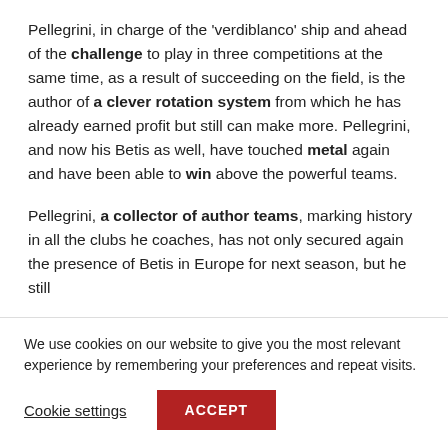Pellegrini, in charge of the 'verdiblanco' ship and ahead of the challenge to play in three competitions at the same time, as a result of succeeding on the field, is the author of a clever rotation system from which he has already earned profit but still can make more. Pellegrini, and now his Betis as well, have touched metal again and have been able to win above the powerful teams.
Pellegrini, a collector of author teams, marking history in all the clubs he coaches, has not only secured again the presence of Betis in Europe for next season, but he still
We use cookies on our website to give you the most relevant experience by remembering your preferences and repeat visits.
Cookie settings  ACCEPT